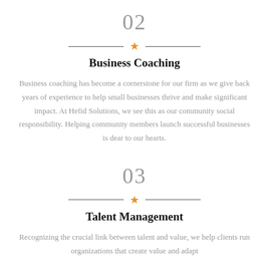02
Business Coaching
Business coaching has become a cornerstone for our firm as we give back years of experience to help small businesses thrive and make significant impact. At Hefid Solutions, we see this as our community social responsibility. Helping community members launch successful businesses is dear to our hearts.
03
Talent Management
Recognizing the crucial link between talent and value, we help clients run organizations that create value and adapt